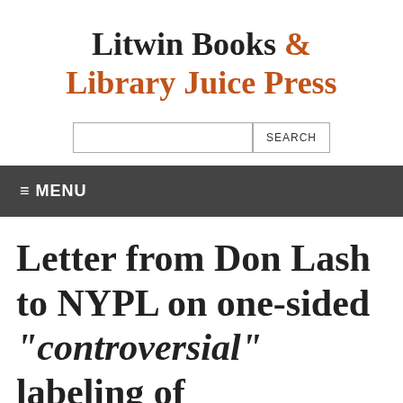Litwin Books & Library Juice Press
SEARCH
≡ MENU
Letter from Don Lash to NYPL on one-sided "controversial" labeling of